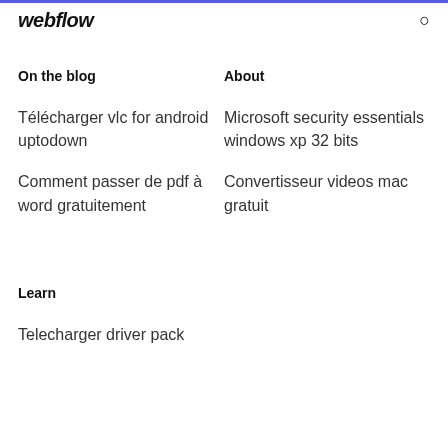webflow
On the blog
About
Télécharger vlc for android uptodown
Microsoft security essentials windows xp 32 bits
Comment passer de pdf à word gratuitement
Convertisseur videos mac gratuit
Learn
Telecharger driver pack